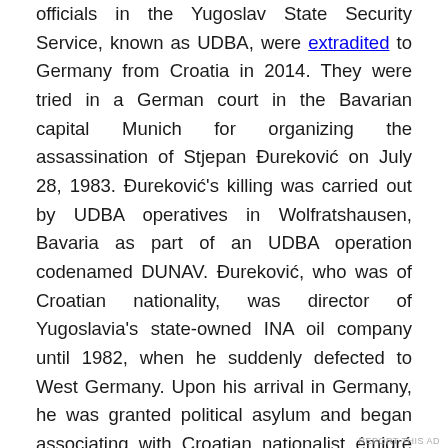officials in the Yugoslav State Security Service, known as UDBA, were extradited to Germany from Croatia in 2014. They were tried in a German court in the Bavarian capital Munich for organizing the assassination of Stjepan Đureković on July 28, 1983. Đureković's killing was carried out by UDBA operatives in Wolfratshausen, Bavaria as part of an UDBA operation codenamed DUNAV. Đureković, who was of Croatian nationality, was director of Yugoslavia's state-owned INA oil company until 1982, when he suddenly defected to West Germany. Upon his arrival in Germany, he was granted political asylum and began associating with Croatian nationalist émigré groups that were active in the country. It was the reason why he was killed by the government of Yugoslavia.
Advertisements